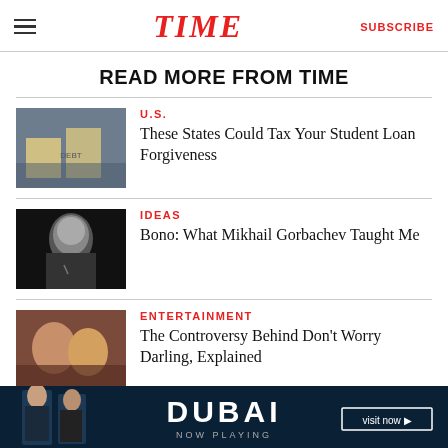TIME | SUBSCRIBE
READ MORE FROM TIME
U.S. — These States Could Tax Your Student Loan Forgiveness
IDEAS — Bono: What Mikhail Gorbachev Taught Me
ENTERTAINMENT — The Controversy Behind Don't Worry Darling, Explained
[Figure (other): Dubai advertisement banner: two people, DUBAI NOW PLAYING, visit now button]